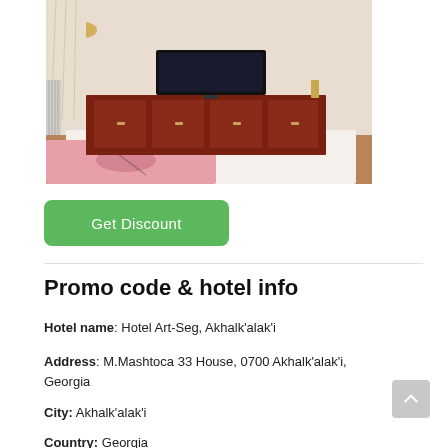[Figure (photo): Hotel room photo showing a mahogany wooden TV cabinet/dresser with a flat-screen TV on top, a floor lamp, sheer curtains, and a pink floral bedspread in the foreground.]
Get Discount
Promo code & hotel info
Hotel name: Hotel Art-Seg, Akhalk'alak'i
Address: M.Mashtoca 33 House, 0700 Akhalk'alak'i, Georgia
City: Akhalk'alak'i
Country: Georgia